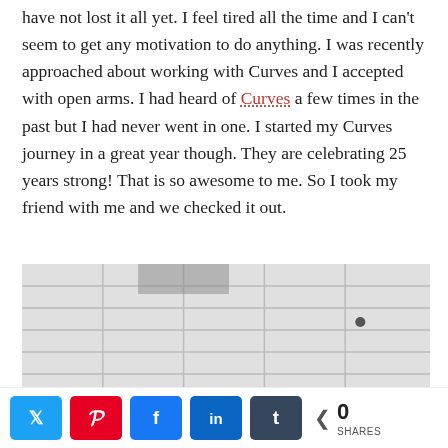have not lost it all yet. I feel tired all the time and I can't seem to get any motivation to do anything. I was recently approached about working with Curves and I accepted with open arms. I had heard of Curves a few times in the past but I had never went in one. I started my Curves journey in a great year though. They are celebrating 25 years strong! That is so awesome to me. So I took my friend with me and we checked it out.
[Figure (photo): Interior photo of a gym/fitness center showing a suspended ceiling with white tiles and grid, yellow-tan walls, and a TV monitor on the wall displaying text that reads FOCUS ON PROGRESS]